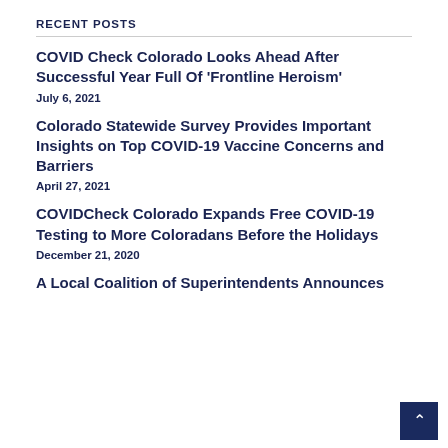RECENT POSTS
COVID Check Colorado Looks Ahead After Successful Year Full Of 'Frontline Heroism'
July 6, 2021
Colorado Statewide Survey Provides Important Insights on Top COVID-19 Vaccine Concerns and Barriers
April 27, 2021
COVIDCheck Colorado Expands Free COVID-19 Testing to More Coloradans Before the Holidays
December 21, 2020
A Local Coalition of Superintendents Announces